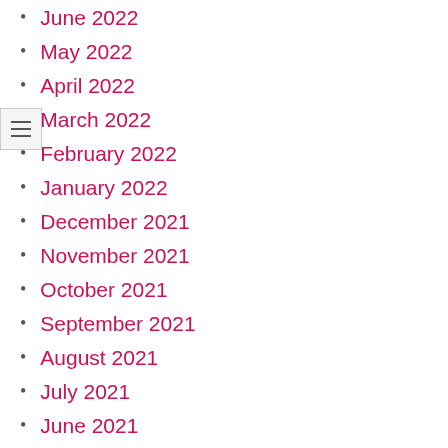June 2022
May 2022
April 2022
March 2022
February 2022
January 2022
December 2021
November 2021
October 2021
September 2021
August 2021
July 2021
June 2021
April 2021
February 2021
January 2021
December 2020
November 2020
September 2020